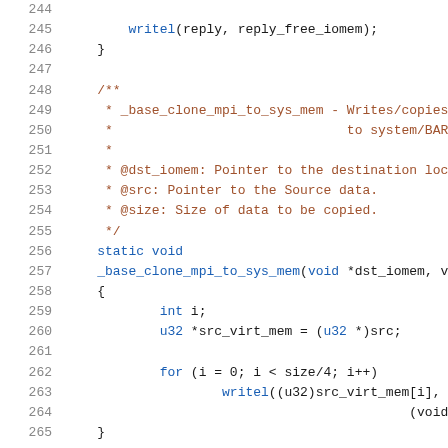244-265: C source code snippet showing writel call, closing brace, and _base_clone_mpi_to_sys_mem function definition with doc comment